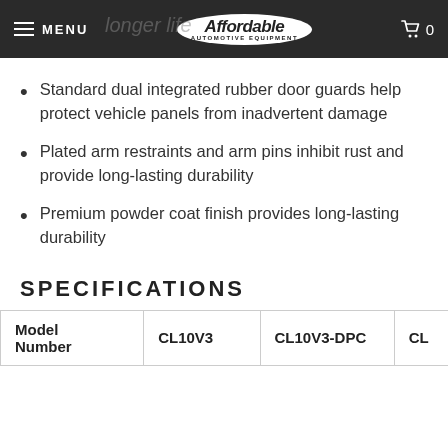MENU | Affordable Automotive Equipment | 0
Standard dual integrated rubber door guards help protect vehicle panels from inadvertent damage
Plated arm restraints and arm pins inhibit rust and provide long-lasting durability
Premium powder coat finish provides long-lasting durability
SPECIFICATIONS
| Model Number | CL10V3 | CL10V3-DPC | CL… |
| --- | --- | --- | --- |